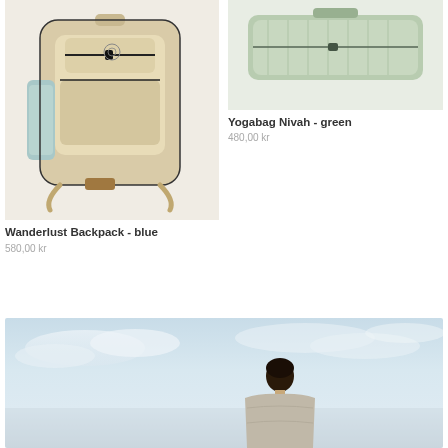[Figure (photo): Wanderlust Backpack in blue - a hemp/natural fabric backpack with light blue side pockets and black zipper accents]
Wanderlust Backpack - blue
580,00 kr
[Figure (photo): Yogabag Nivah in green - a green yoga bag/mat carrier]
Yogabag Nivah - green
480,00 kr
[Figure (photo): Person viewed from behind against a light sky background, wearing a light grey top]